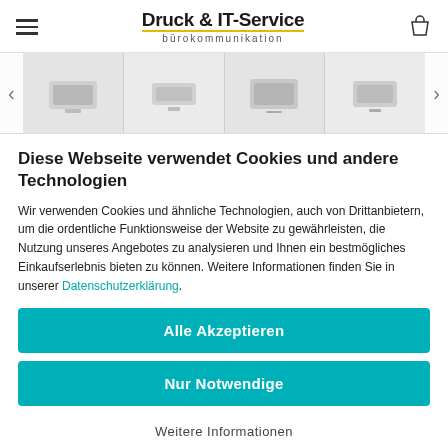Druck & IT-Service bürokommunikation
[Figure (photo): Horizontal image carousel showing printer/projector devices with left and right navigation arrows]
Diese Webseite verwendet Cookies und andere Technologien
Wir verwenden Cookies und ähnliche Technologien, auch von Drittanbietern, um die ordentliche Funktionsweise der Website zu gewährleisten, die Nutzung unseres Angebotes zu analysieren und Ihnen ein bestmögliches Einkaufserlebnis bieten zu können. Weitere Informationen finden Sie in unserer Datenschutzerklärung.
Alle Akzeptieren
Nur Notwendige
Weitere Informationen